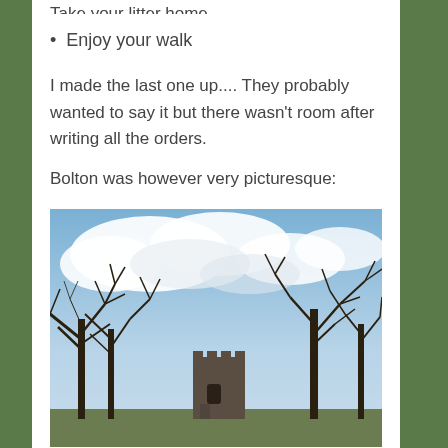Take your litter home
Enjoy your walk
I made the last one up.... They probably wanted to say it but there wasn't room after writing all the orders.
Bolton was however very picturesque:
[Figure (photo): Outdoor photograph showing a stone castle tower with battlements in the center background, surrounded by bare leafless trees on both sides, against a blue sky with white clouds.]